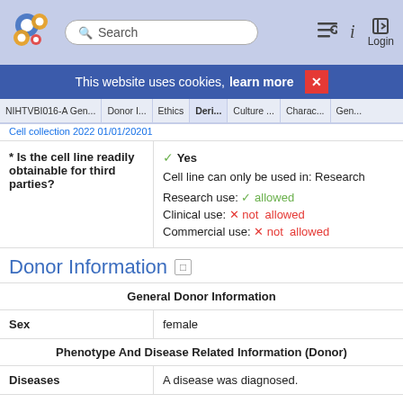Search Login
This website uses cookies, learn more X
NIHTVBI016-A Gen... Donor I... Ethics Deri... Culture ... Charac... Gen...
* Is the cell line readily obtainable for third parties? Yes Cell line can only be used in: Research Research use: allowed Clinical use: not allowed Commercial use: not allowed
Donor Information
|  | General Donor Information |
| --- | --- |
| Sex | female |
|  | Phenotype And Disease Related Information (Donor) |
| Diseases | A disease was diagnosed. |